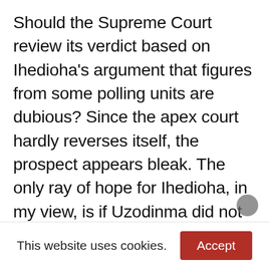Should the Supreme Court review its verdict based on Ihedioha's argument that figures from some polling units are dubious? Since the apex court hardly reverses itself, the prospect appears bleak. The only ray of hope for Ihedioha, in my view, is if Uzodinma did not meet the constitutional requirement of spread — that is, having to score at least 25 percent of votes cast in two-thirds of the LGAs. INEC has not given us the data so we can't say. If indeed Uzodinma did not meet this requirement, then INEC can ask the Supreme Court for a review so that a run-off can be organised between the top two candidates as
This website uses cookies.